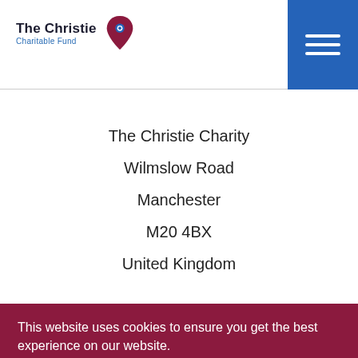[Figure (logo): The Christie Charitable Fund logo: text 'The Christie' in dark navy bold, 'Charitable Fund' in blue below, with a heart/map-pin icon in dark red and blue]
[Figure (other): Blue rectangle hamburger menu button with three white horizontal lines]
The Christie Charity
Wilmslow Road
Manchester
M20 4BX
United Kingdom
This website uses cookies to ensure you get the best experience on our website.
I ACCEPT ALL COOKIES